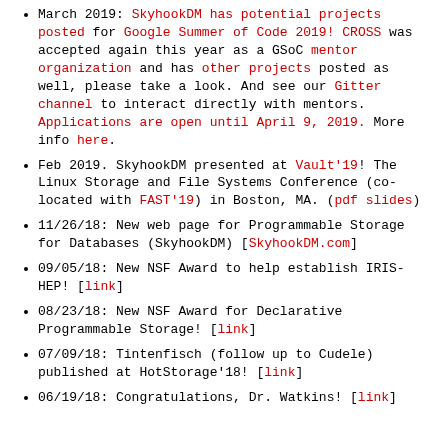March 2019: SkyhookDM has potential projects posted for Google Summer of Code 2019! CROSS was accepted again this year as a GSoC mentor organization and has other projects posted as well, please take a look. And see our Gitter channel to interact directly with mentors. Applications are open until April 9, 2019. More info here.
Feb 2019. SkyhookDM presented at Vault'19! The Linux Storage and File Systems Conference (co-located with FAST'19) in Boston, MA. (pdf slides)
11/26/18: New web page for Programmable Storage for Databases (SkyhookDM) [SkyhookDM.com]
09/05/18: New NSF Award to help establish IRIS-HEP! [link]
08/23/18: New NSF Award for Declarative Programmable Storage! [link]
07/09/18: Tintenfisch (follow up to Cudele) published at HotStorage'18! [link]
06/19/18: Congratulations, Dr. Watkins! [link]